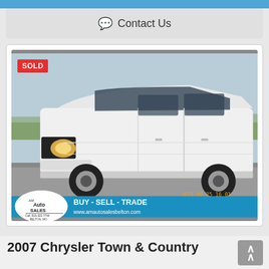Contact Us
[Figure (photo): White Chrysler Town & Country minivan parked in a car lot with a SOLD badge in the top-left corner. AM Auto Sales logo and BUY - SELL - TRADE text overlay at the bottom. www.amautosalesbelton.com. Timestamp: 2021 06 25 16 01]
2007 Chrysler Town & Country